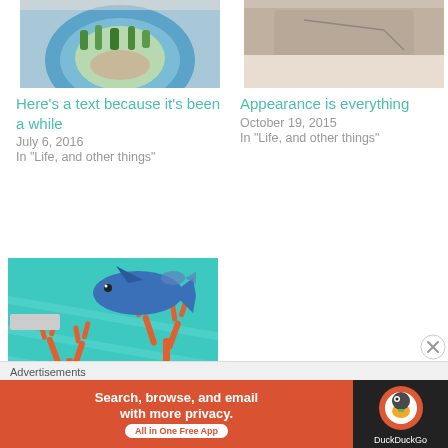[Figure (photo): Top-left: blue plate with food/greens (partial, cropped at top)]
[Figure (photo): Top-right: partial photo of animal/object, cropped at top]
Here's a text because it's been a while
July 6, 2016
In "Life, and other things"
Appearance is everything
October 19, 2015
In "Life, and other things"
[Figure (illustration): Underwater scene with blue whale and orange coral/seaweed illustrations on teal background]
HCMC Fish Store – Tanaka Pham
October 13, 2019
In "Fishkeeping"
Advertisements
[Figure (screenshot): DuckDuckGo advertisement banner: 'Search, browse, and email with more privacy. All in One Free App' with DuckDuckGo logo on dark background]